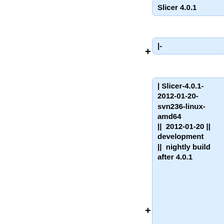Slicer 4.0.1
|-
| Slicer-4.0.1-2012-01-20-svn236-linux-amd64 || 2012-01-20 || development || nightly build after 4.0.1
|-
| Slicer-4.0.1-1-linux-amd64 || 2012-01-28 || release ||